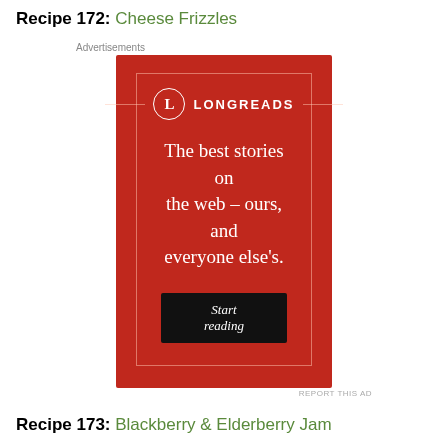Recipe 172: Cheese Frizzles
[Figure (other): Longreads advertisement banner with red background. Shows Longreads logo with circle L, tagline 'The best stories on the web – ours, and everyone else's.' and a 'Start reading' button.]
Recipe 173: Blackberry & Elderberry Jam
Recipe 174: Oatmeal Stuffing
Recipe 175: Flap Jack